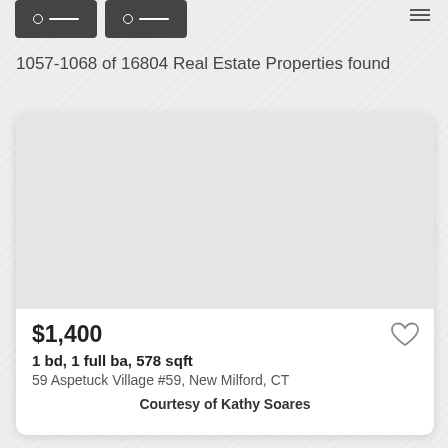[Figure (screenshot): Two dark navigation/filter buttons with icons at the top of the page]
1057-1068 of 16804 Real Estate Properties found
[Figure (photo): Property listing card with blank image area showing a rental property]
$1,400
1 bd, 1 full ba, 578 sqft
59 Aspetuck Village #59, New Milford, CT
Courtesy of Kathy Soares